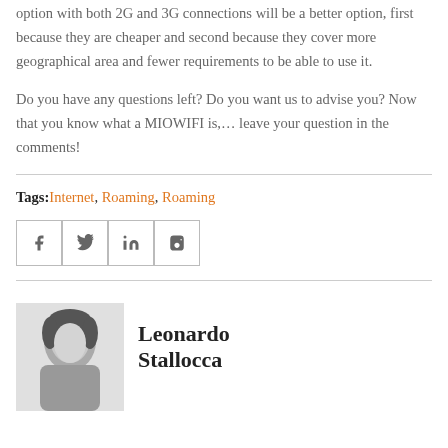option with both 2G and 3G connections will be a better option, first because they are cheaper and second because they cover more geographical area and fewer requirements to be able to use it.
Do you have any questions left? Do you want us to advise you? Now that you know what a MIOWIFI is,… leave your question in the comments!
Tags: Internet, Roaming, Roaming
[Figure (other): Social sharing buttons for Facebook, Twitter, LinkedIn, and Tumblr]
[Figure (photo): Grayscale headshot photo of Leonardo Stallocca]
Leonardo Stallocca